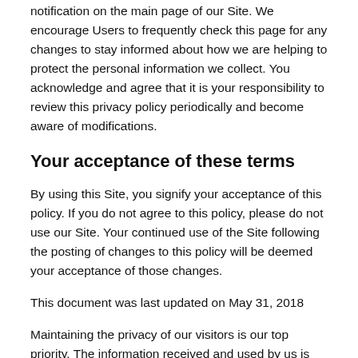notification on the main page of our Site. We encourage Users to frequently check this page for any changes to stay informed about how we are helping to protect the personal information we collect. You acknowledge and agree that it is your responsibility to review this privacy policy periodically and become aware of modifications.
Your acceptance of these terms
By using this Site, you signify your acceptance of this policy. If you do not agree to this policy, please do not use our Site. Your continued use of the Site following the posting of changes to this policy will be deemed your acceptance of those changes.
This document was last updated on May 31, 2018
Maintaining the privacy of our visitors is our top priority. The information received and used by us is